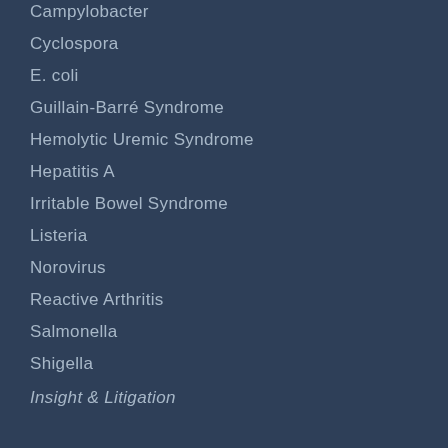Campylobacter
Cyclospora
E. coli
Guillain-Barré Syndrome
Hemolytic Uremic Syndrome
Hepatitis A
Irritable Bowel Syndrome
Listeria
Norovirus
Reactive Arthritis
Salmonella
Shigella
Insight & Litigation